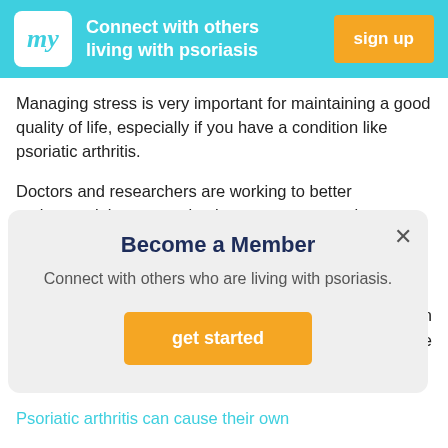Connect with others living with psoriasis | sign up
Managing stress is very important for maintaining a good quality of life, especially if you have a condition like psoriatic arthritis.
Doctors and researchers are working to better understand the connection between stress and conditions like
[Figure (screenshot): Modal popup: 'Become a Member' with subtitle 'Connect with others who are living with psoriasis.' and an orange 'get started' button. Close X in top right.]
The Relationship Between Stress and Psoriatic Arthritis
Psoriatic arthritis can cause their own